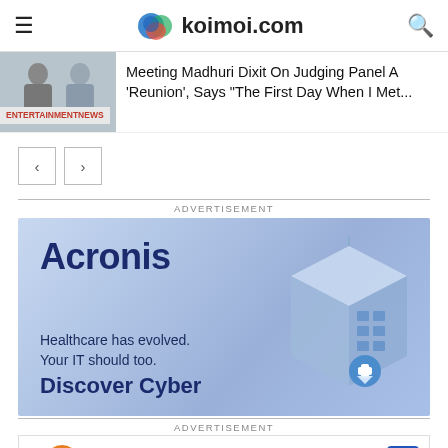koimoi.com
Meeting Madhuri Dixit On Judging Panel A 'Reunion', Says "The First Day When I Met..."
[Figure (screenshot): Navigation previous and next arrow buttons]
ADVERTISEMENT
[Figure (screenshot): Acronis advertisement: Healthcare has evolved. Your IT should too. Discover Cyber]
ADVERTISEMENT
[Figure (screenshot): Google ad bar: In-store shopping]